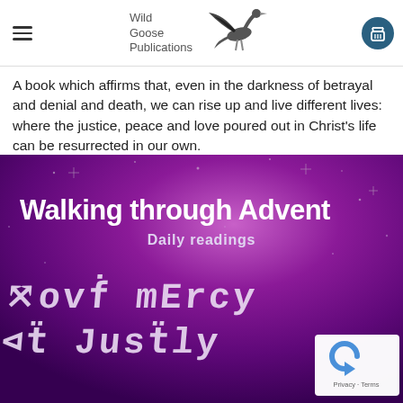Wild Goose Publications
A book which affirms that, even in the darkness of betrayal and denial and death, we can rise up and live different lives: where the justice, peace and love poured out in Christ's life can be resurrected in our own.
[Figure (photo): Book cover for 'Walking through Advent – Daily readings' with a purple gradient background with stars, handwritten-style graffiti text reading 'love mercy act justly' overlaid. A reCAPTCHA badge appears in the bottom-right corner.]